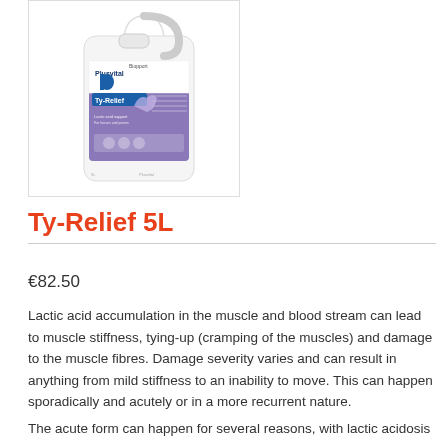[Figure (photo): A white 5L plastic jug/container of Plusvital Ty-Relief product with a purple and white label, photographed against a white background.]
Ty-Relief 5L
€82.50
Lactic acid accumulation in the muscle and blood stream can lead to muscle stiffness, tying-up (cramping of the muscles) and damage to the muscle fibres. Damage severity varies and can result in anything from mild stiffness to an inability to move. This can happen sporadically and acutely or in a more recurrent nature.
The acute form can happen for several reasons, with lactic acidosis